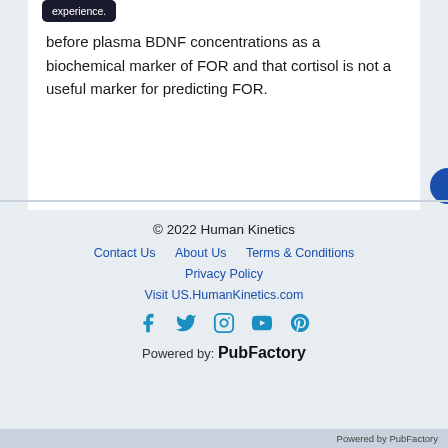before plasma BDNF concentrations as a biochemical marker of FOR and that cortisol is not a useful marker for predicting FOR.
© 2022 Human Kinetics
Contact Us   About Us   Terms & Conditions
Privacy Policy
Visit US.HumanKinetics.com
[Figure (other): Social media icons: Facebook, Twitter, Instagram, YouTube, Pinterest]
Powered by: PubFactory
Powered by PubFactory